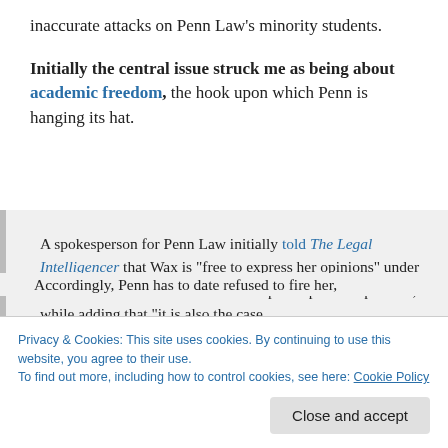inaccurate attacks on Penn Law's minority students.
Initially the central issue struck me as being about academic freedom, the hook upon which Penn is hanging its hat.
A spokesperson for Penn Law initially told The Legal Intelligencer that Wax is "free to express her opinions" under the school's academic freedom and open expression policies, while adding that "it is also the case
Accordingly, Penn has to date refused to fire her,
Privacy & Cookies: This site uses cookies. By continuing to use this website, you agree to their use.
To find out more, including how to control cookies, see here: Cookie Policy